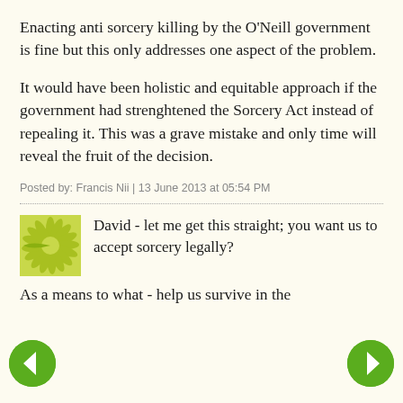Enacting anti sorcery killing by the O'Neill government is fine but this only addresses one aspect of the problem.
It would have been holistic and equitable approach if the government had strenghtened the Sorcery Act instead of repealing it. This was a grave mistake and only time will reveal the fruit of the decision.
Posted by: Francis Nii | 13 June 2013 at 05:54 PM
David - let me get this straight; you want us to accept sorcery legally?
As a means to what - help us survive in the